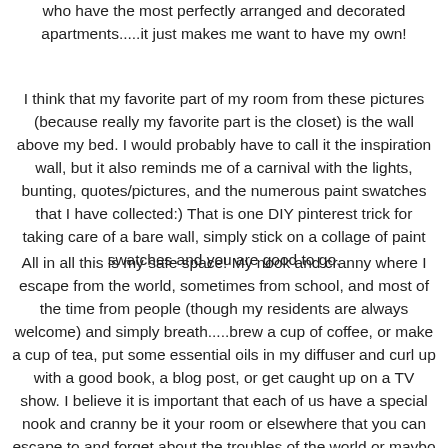who have the most perfectly arranged and decorated apartments.....it just makes me want to have my own!
I think that my favorite part of my room from these pictures (because really my favorite part is the closet) is the wall above my bed. I would probably have to call it the inspiration wall, but it also reminds me of a carnival with the lights, bunting, quotes/pictures, and the numerous paint swatches that I have collected:) That is one DIY pinterest trick for taking care of a bare wall, simply stick on a collage of paint swatches and you are good to go.
All in all this is my safe space! My nook and cranny where I escape from the world, sometimes from school, and most of the time from people (though my residents are always welcome) and simply breath.....brew a cup of coffee, or make a cup of tea, put some essential oils in my diffuser and curl up with a good book, a blog post, or get caught up on a TV show. I believe it is important that each of us have a special nook and cranny be it your room or elsewhere that you can escape to and forget about the troubles of the world or maybo sometimes like me brainstorm ways to fix them!